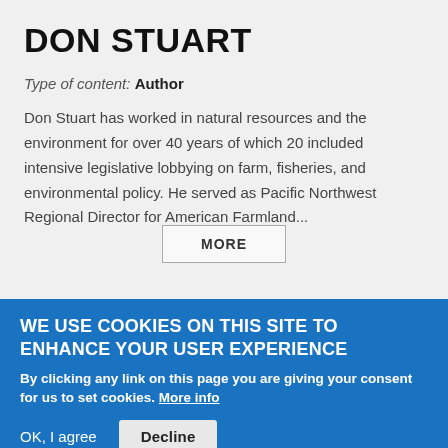DON STUART
Type of content: Author
Don Stuart has worked in natural resources and the environment for over 40 years of which 20 included intensive legislative lobbying on farm, fisheries, and environmental policy. He served as Pacific Northwest Regional Director for American Farmland...
MORE
WE USE COOKIES ON THIS SITE TO ENHANCE YOUR USER EXPERIENCE
By clicking any link on this page you are giving your consent for us to set cookies. More info
OK, I agree  Decline